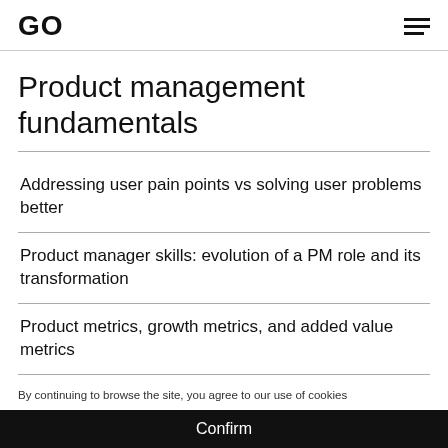GO
Product management fundamentals
Addressing user pain points vs solving user problems better
Product manager skills: evolution of a PM role and its transformation
Product metrics, growth metrics, and added value metrics
Customer retention levers: task frequency and
By continuing to browse the site, you agree to our use of cookies
Confirm